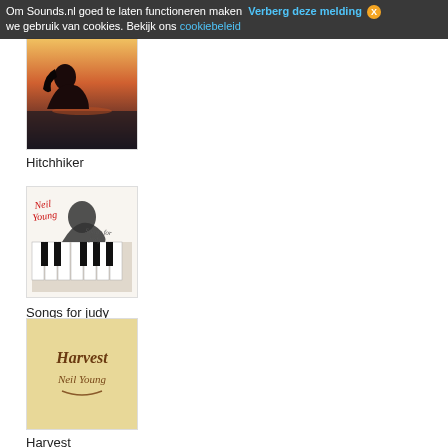Om Sounds.nl goed te laten functioneren maken we gebruik van cookies. Bekijk ons cookiebeleid  Verberg deze melding  X
[Figure (photo): Album cover for Hitchhiker - dark silhouette of a person against a sunset sky over water]
Hitchhiker
[Figure (photo): Album cover for Songs for Judy by Neil Young - black and white photo of person at piano with red handwritten text]
Songs for judy
[Figure (photo): Album cover for Harvest by Neil Young - tan/golden background with decorative script text 'Harvest Neil Young']
Harvest
[Figure (photo): Album cover for Neil Young self-titled - colorful painted landscape with figure]